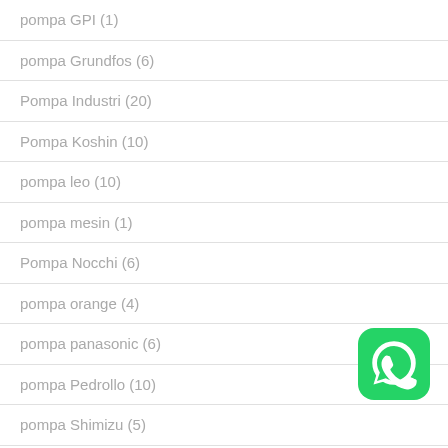pompa GPI (1)
pompa Grundfos (6)
Pompa Industri (20)
Pompa Koshin (10)
pompa leo (10)
pompa mesin (1)
Pompa Nocchi (6)
pompa orange (4)
pompa panasonic (6)
pompa Pedrollo (10)
pompa Shimizu (5)
pompa speroni (2)
pompa Tsurumi (7)
pompa Uchida (5)
[Figure (logo): WhatsApp icon — green rounded square with white phone handset in speech bubble]